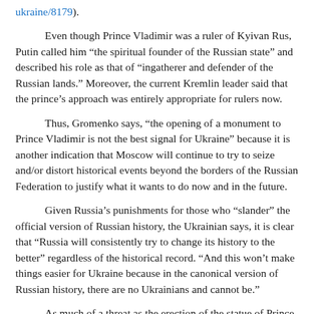ukraine/8179).
Even though Prince Vladimir was a ruler of Kyivan Rus, Putin called him “the spiritual founder of the Russian state” and described his role as that of “ingatherer and defender of the Russian lands.” Moreover, the current Kremlin leader said that the prince’s approach was entirely appropriate for rulers now.
Thus, Gromenko says, “the opening of a monument to Prince Vladimir is not the best signal for Ukraine” because it is another indication that Moscow will continue to try to seize and/or distort historical events beyond the borders of the Russian Federation to justify what it wants to do now and in the future.
Given Russia’s punishments for those who “slander” the official version of Russian history, the Ukrainian says, it is clear that “Russia will consistently try to change its history to the better” regardless of the historical record. “And this won’t make things easier for Ukraine because in the canonical version of Russian history, there are no Ukrainians and cannot be.”
As much of a threat as the erection of the statue of Prince